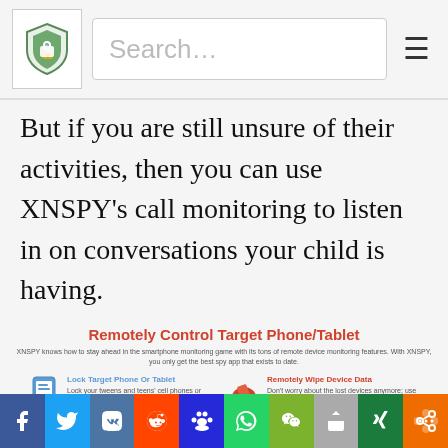[Figure (screenshot): Website header with shield logo, search bar with placeholder 'Search…', and hamburger menu icon]
But if you are still unsure of their activities, then you can use XNSPY's call monitoring to listen in on conversations your child is having.
If you find out that they might be involved in something dangerous then you can immediately step in and do your job as a parent to protect them.
[Figure (infographic): XNSPY 'Remotely Control Target Phone/Tablet' infographic showing Lock Target Phone Or Tablet and Remotely Wipe Device Data features]
[Figure (screenshot): Social share bar with Facebook, Twitter, VK, Reddit, Baidu, WhatsApp, WeChat, Share, Xing, More buttons]